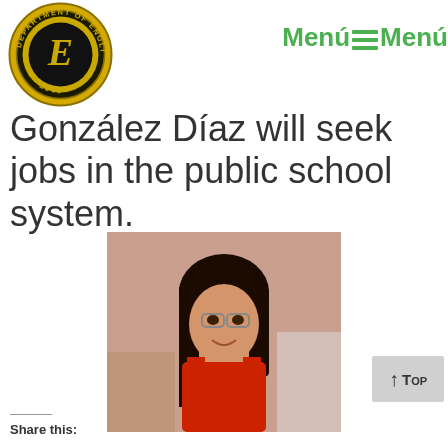[Figure (logo): Department of English circular seal/logo with gold and black design, year 1969, letter E in center]
MenúMenú
González Díaz will seek jobs in the public school system.
[Figure (photo): Young woman with long dark hair, glasses, wearing red top, smiling, indoor setting]
Top
Share this: